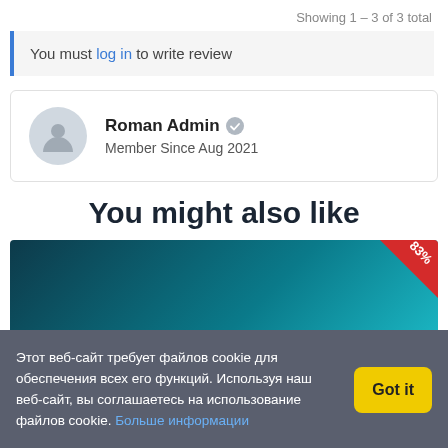Showing 1 – 3 of 3 total
You must log in to write review
Roman Admin
Member Since Aug 2021
You might also like
[Figure (other): Product image with dark teal gradient background and 83% discount badge in top-right corner]
Этот веб-сайт требует файлов cookie для обеспечения всех его функций. Используя наш веб-сайт, вы соглашаетесь на использование файлов cookie. Больше информации